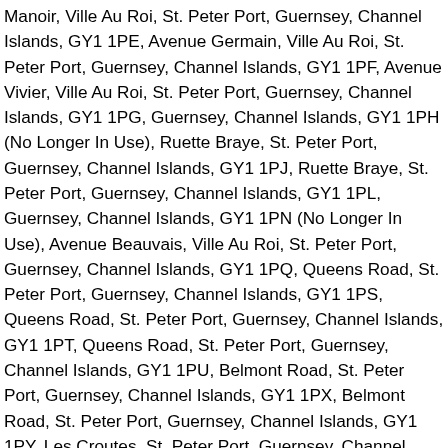Manoir, Ville Au Roi, St. Peter Port, Guernsey, Channel Islands, GY1 1PE, Avenue Germain, Ville Au Roi, St. Peter Port, Guernsey, Channel Islands, GY1 1PF, Avenue Vivier, Ville Au Roi, St. Peter Port, Guernsey, Channel Islands, GY1 1PG, Guernsey, Channel Islands, GY1 1PH (No Longer In Use), Ruette Braye, St. Peter Port, Guernsey, Channel Islands, GY1 1PJ, Ruette Braye, St. Peter Port, Guernsey, Channel Islands, GY1 1PL, Guernsey, Channel Islands, GY1 1PN (No Longer In Use), Avenue Beauvais, Ville Au Roi, St. Peter Port, Guernsey, Channel Islands, GY1 1PQ, Queens Road, St. Peter Port, Guernsey, Channel Islands, GY1 1PS, Queens Road, St. Peter Port, Guernsey, Channel Islands, GY1 1PT, Queens Road, St. Peter Port, Guernsey, Channel Islands, GY1 1PU, Belmont Road, St. Peter Port, Guernsey, Channel Islands, GY1 1PX, Belmont Road, St. Peter Port, Guernsey, Channel Islands, GY1 1PY, Les Croutes, St. Peter Port, Guernsey, Channel Islands, GY1 1PZ, Kings Road, St. Peter Port, Guernsey, Channel Islands, GY1 1QA, Kings Road, St. Peter Port, Guernsey, Channel Islands, GY1 1QB, Kings Road, St. Peter Port, Guernsey,